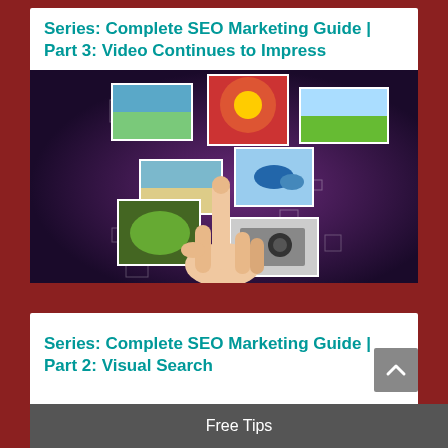Series: Complete SEO Marketing Guide | Part 3: Video Continues to Impress
[Figure (photo): Hand pointing index finger upward with floating photo thumbnails on dark purple background, including flower, nature, beach, leaf, and camera images]
Series: Complete SEO Marketing Guide | Part 2: Visual Search
Free Tips